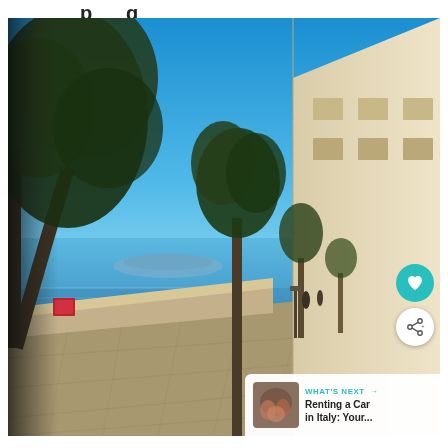p g
[Figure (photo): A scenic promenade or walkway along a coastal fortification wall. Trees line the stone-paved path, with a bright blue sea and clear sky in the background. A distant island or headland is visible on the horizon. On the right side, a large cream-colored wall or building facade runs along the path. A red-framed noticeboard is visible on the wall. Two distant figures walk along the path. A heart/favorite button (teal circle) and a share button (white circle) overlay the top-right corner of the image. A 'WHAT'S NEXT' banner in the bottom-right corner shows a thumbnail and text 'Renting a Car in Italy: Your...']